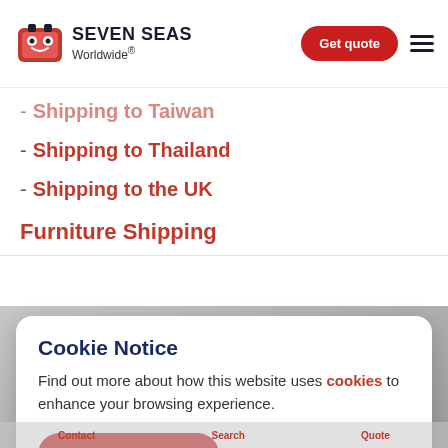Seven Seas Worldwide®
Shipping to Taiwan
Shipping to Thailand
Shipping to the UK
Furniture Shipping
Cookie Notice
Find out more about how this website uses cookies to enhance your browsing experience.
Accept Cookies